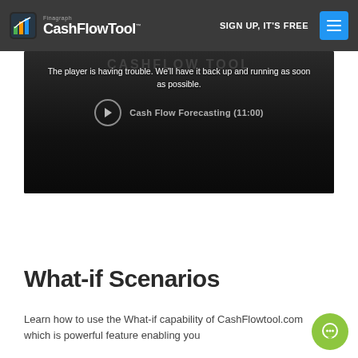CashFlowTool.com — SIGN UP, IT'S FREE
[Figure (screenshot): Video player with error message: 'The player is having trouble. We'll have it back up and running as soon as possible.' with play button and label 'Cash Flow Forecasting (11:00)']
What-if Scenarios
Learn how to use the What-if capability of CashFlowtool.com which is powerful feature enabling you